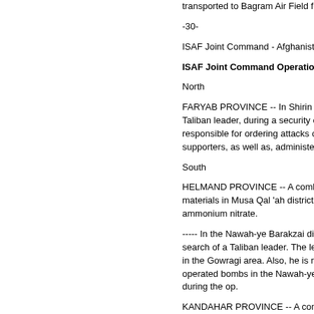transported to Bagram Air Field for further me
-30-
ISAF Joint Command - Afghanistan
ISAF Joint Command Operational Update
North
FARYAB PROVINCE -- In Shirin Tagab distr a Taliban leader, during a security clearance o responsible for ordering attacks on Afghan fo supporters, as well as, administering Sharia La
South
HELMAND PROVINCE -- A combined Afgh materials in Musa Qal 'ah district, yesterday. ammonium nitrate.
----- In the Nawah-ye Barakzai district, a com in search of a Taliban leader. The leader is inv bombs in the Gowragi area. Also, he is respon victim-operated bombs in the Nawah-ye Bara insurgents during the op.
KANDAHAR PROVINCE -- A combined Af suspected insurgents during a security clearan responsible for a vehicle bomb attack in Kand suspected insurgents during the op.